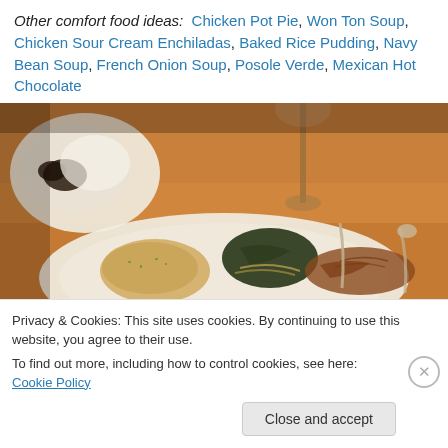Other comfort food ideas: Chicken Pot Pie, Won Ton Soup, Chicken Sour Cream Enchiladas, Baked Rice Pudding, Navy Bean Soup, French Onion Soup, Posole Verde, Mexican Hot Chocolate
[Figure (photo): A close-up photograph of a restaurant table with plates of food including bread, pasta with dark leafy greens, and what appears to be pulled or shredded meat, along with a wine glass and a water glass on a wooden table.]
Privacy & Cookies: This site uses cookies. By continuing to use this website, you agree to their use. To find out more, including how to control cookies, see here: Cookie Policy